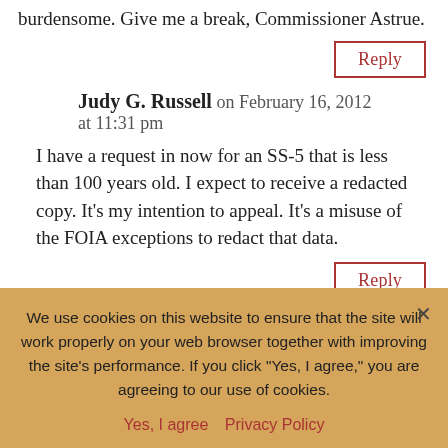burdensome. Give me a break, Commissioner Astrue.
Reply
Judy G. Russell on February 16, 2012 at 11:31 pm
I have a request in now for an SS-5 that is less than 100 years old. I expect to receive a redacted copy. It’s my intention to appeal. It’s a misuse of the FOIA exceptions to redact that data.
Reply
TC on February 17, 2012 at 5:12 pm
what? I have 4 requests out (no other way to find the info I
We use cookies on this website to ensure that the site will work properly on your web browser together with improving the site’s performance. If you click “Yes, I agree,” you are agreeing to our use of cookies.
Yes, I agree   Privacy Policy